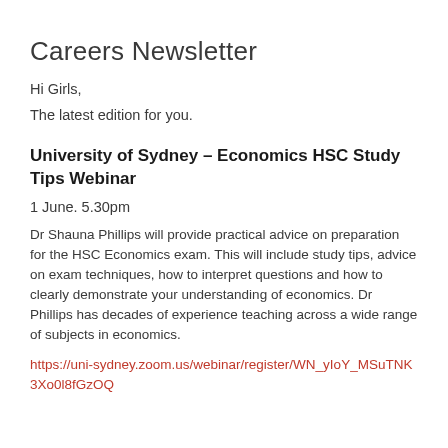Careers Newsletter
Hi Girls,
The latest edition for you.
University of Sydney – Economics HSC Study Tips Webinar
1 June. 5.30pm
Dr Shauna Phillips will provide practical advice on preparation for the HSC Economics exam. This will include study tips, advice on exam techniques, how to interpret questions and how to clearly demonstrate your understanding of economics. Dr Phillips has decades of experience teaching across a wide range of subjects in economics.
https://uni-sydney.zoom.us/webinar/register/WN_yIoY_MSuTNK3Xo0l8fGzOQ